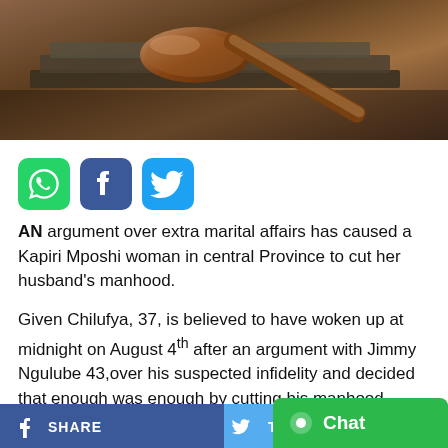[Figure (photo): Photo of a wooden judge's gavel resting on top of old law books, with warm brown tones]
[Figure (infographic): Social media share icons: WhatsApp (green), Facebook (blue), Twitter (light blue)]
AN argument over extra marital affairs has caused a Kapiri Mposhi woman in central Province to cut her husband's manhood.
Given Chilufya, 37, is believed to have woken up at midnight on August 4th after an argument with Jimmy Ngulube 43,over his suspected infidelity and decided that enough was enough by cutting his manhood.
In this matter, Chilufya is charged and con
[Figure (infographic): Bottom bar with Facebook SHARE button (dark blue) and Twitter TWE button (light blue), plus a green Chat button overlay]